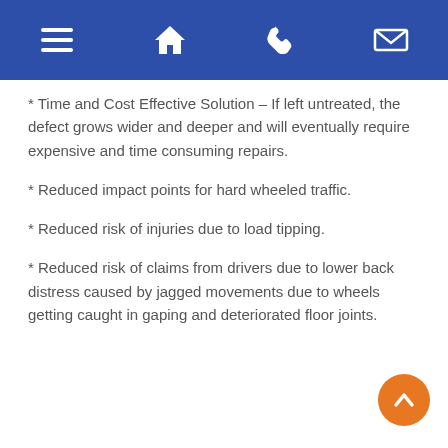[Navigation bar with menu, home, phone, and email icons]
* Time and Cost Effective Solution – If left untreated, the defect grows wider and deeper and will eventually require expensive and time consuming repairs.
* Reduced impact points for hard wheeled traffic.
* Reduced risk of injuries due to load tipping.
* Reduced risk of claims from drivers due to lower back distress caused by jagged movements due to wheels getting caught in gaping and deteriorated floor joints.